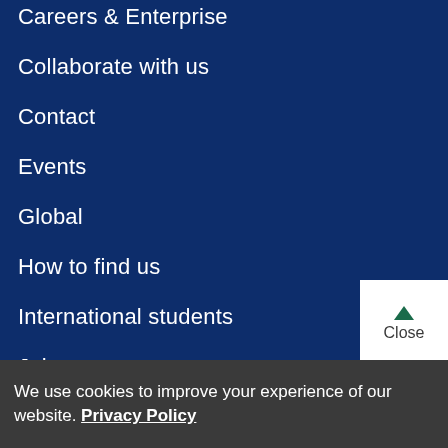Careers & Enterprise
Collaborate with us
Contact
Events
Global
How to find us
International students
Jobs
Library
MvOMUL
We use cookies to improve your experience of our website. Privacy Policy